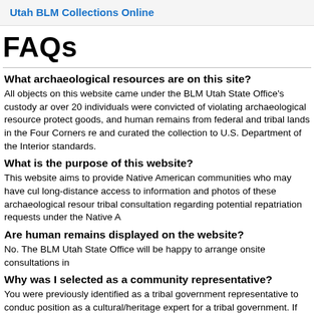Utah BLM Collections Online
FAQs
What archaeological resources are on this site?
All objects on this website came under the BLM Utah State Office's custody and over 20 individuals were convicted of violating archaeological resource protection goods, and human remains from federal and tribal lands in the Four Corners region and curated the collection to U.S. Department of the Interior standards.
What is the purpose of this website?
This website aims to provide Native American communities who may have cultural long-distance access to information and photos of these archaeological resources tribal consultation regarding potential repatriation requests under the Native American
Are human remains displayed on the website?
No. The BLM Utah State Office will be happy to arrange onsite consultations in
Why was I selected as a community representative?
You were previously identified as a tribal government representative to conduct position as a cultural/heritage expert for a tribal government. If you or your community representatives, please contact us and we will arrange to provide them with